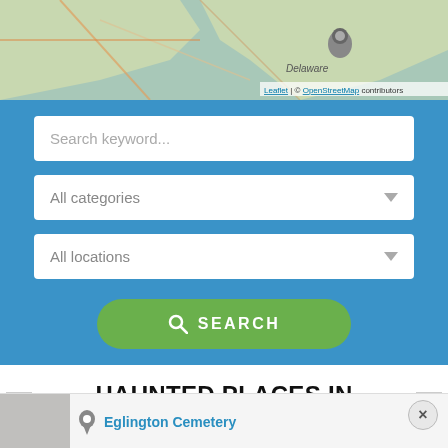[Figure (map): Interactive map showing Delaware area with location pins, Leaflet/OpenStreetMap attribution]
Search keyword...
All categories
All locations
SEARCH
HAUNTED PLACES IN PAULSBORO, NEW JERSEY
Eglington Cemetery